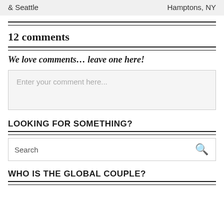| & Seattle | Hamptons, NY |
12 comments
We love comments... leave one here!
Enter your comment here...
LOOKING FOR SOMETHING?
Search
WHO IS THE GLOBAL COUPLE?